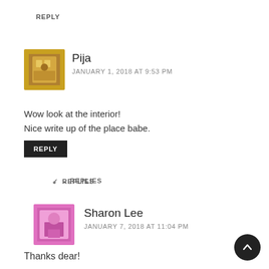REPLY
Pija
JANUARY 1, 2018 AT 9:53 PM
Wow look at the interior!
Nice write up of the place babe.
REPLY
REPLIES
Sharon Lee
JANUARY 7, 2018 AT 11:04 PM
Thanks dear!